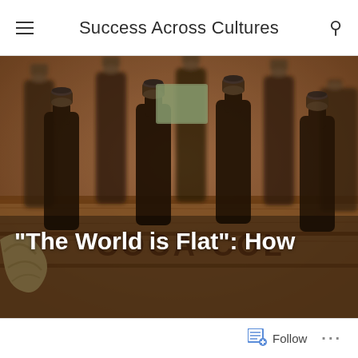Success Across Cultures
[Figure (photo): Close-up photograph of a wooden Coca-Cola crate with multiple dark glass bottles with metal caps, and a rope handle visible on the left side. The text 'COCA-COL' is partially visible on the wooden crate.]
“The World is Flat”: How
Follow ...